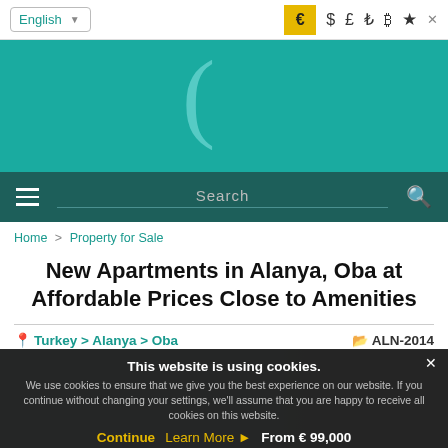English | € $ £ ₺ ₿ ★ ×
[Figure (logo): Teal header with partial parenthesis/crescent logo]
≡  Search  🔍
Home > Property for Sale
New Apartments in Alanya, Oba at Affordable Prices Close to Amenities
📍 Turkey > Alanya > Oba    🗂 ALN-2014
This website is using cookies. We use cookies to ensure that we give you the best experience on our website. If you continue without changing your settings, we'll assume that you are happy to receive all cookies on this website. Continue  Learn More ▶  From € 99,000